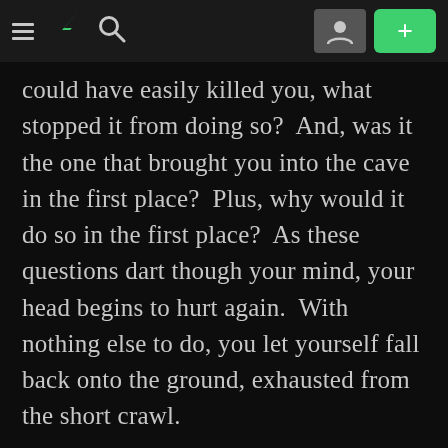[DeviantArt navigation bar with menu, DA logo, search, profile, and + button]
could have easily killed you, what stopped it from doing so?  And, was it the one that brought you into the cave in the first place?  Plus, why would it do so in the first place?  As these questions dart though your mind, your head begins to hurt again.  With nothing else to do, you let yourself fall back onto the ground, exhausted from the short crawl.
While you slept, the creature came back.  It saw you lying uncomfortably on the floor of the cave.  With strength that no normal human could have, the beast lifted you up and set you